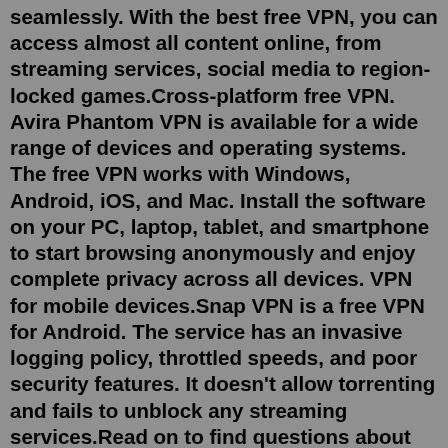seamlessly. With the best free VPN, you can access almost all content online, from streaming services, social media to region-locked games.Cross-platform free VPN. Avira Phantom VPN is available for a wide range of devices and operating systems. The free VPN works with Windows, Android, iOS, and Mac. Install the software on your PC, laptop, tablet, and smartphone to start browsing anonymously and enjoy complete privacy across all devices. VPN for mobile devices.Snap VPN is a free VPN for Android. The service has an invasive logging policy, throttled speeds, and poor security features. It doesn't allow torrenting and fails to unblock any streaming services.Read on to find questions about prices, security, as well as much more. Is Snap VPN for PC Free? Is Snap VPN for PC Safe and Secure? Snap VPN connects instantly with your device.Snapchat collects a lot of data from every user. This includes: Identifying information: including your name, email address, birth date, and phone number.; App activity: all those snaps might disappear once the recipient